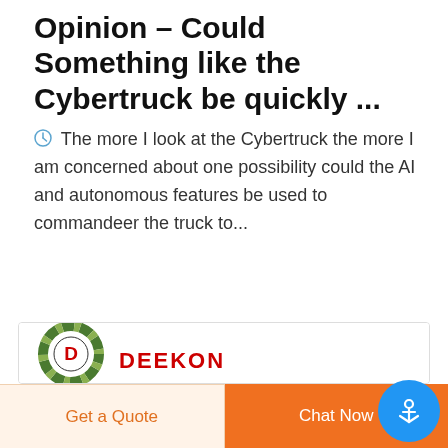Opinion – Could Something like the Cybertruck be quickly ...
The more I look at the Cybertruck the more I am concerned about one possibility could the AI and autonomous features be used to commandeer the truck to...
[Figure (photo): Deekon brand logo with circular camouflage pattern and red D in center, plus two dark navy police body armor shields — one labeled POLICE — with mounting holes, and a small screw/bolt visible on the right shield.]
Get a Quote
Chat Now